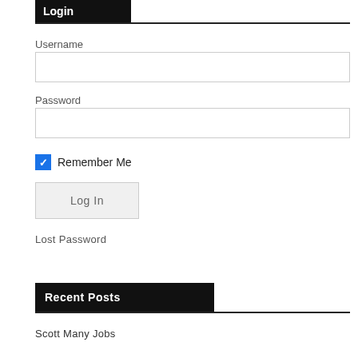Login
Username
Password
Remember Me
Log In
Lost Password
Recent Posts
Scott Many Jobs